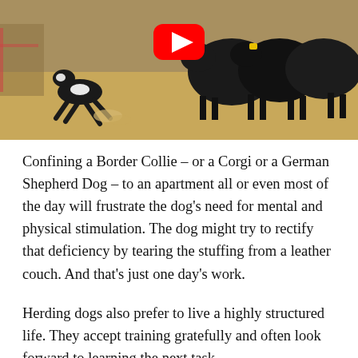[Figure (photo): A small black and white herding dog (appears to be a Border Collie or similar breed) chasing a group of large black cattle on a dry grassy field. A YouTube play button overlay is visible in the upper center of the image.]
Confining a Border Collie – or a Corgi or a German Shepherd Dog – to an apartment all or even most of the day will frustrate the dog's need for mental and physical stimulation. The dog might try to rectify that deficiency by tearing the stuffing from a leather couch. And that's just one day's work.
Herding dogs also prefer to live a highly structured life. They accept training gratefully and often look forward to learning the next task.